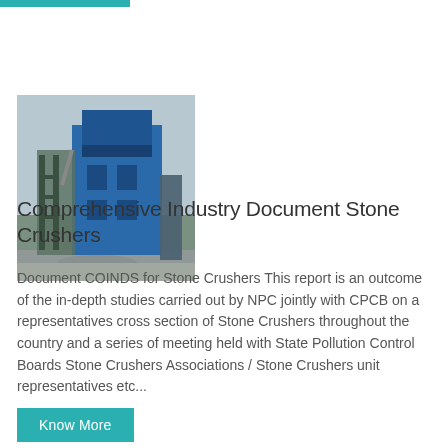[Figure (photo): Industrial stone crusher facility with blue metal structure and machinery, outdoor setting with overcast sky]
Comprehensive Industry Document Stone Crushers
Document COINDS for Stone Crushers This report is an outcome of the in-depth studies carried out by NPC jointly with CPCB on a representatives cross section of Stone Crushers throughout the country and a series of meeting held with State Pollution Control Boards Stone Crushers Associations / Stone Crushers unit representatives etc...
Know More